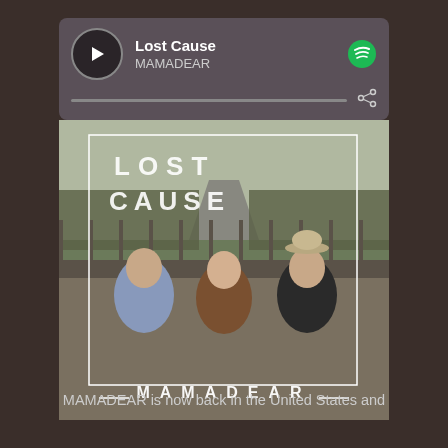[Figure (screenshot): Spotify player card showing 'Lost Cause' by MAMADEAR with play button, progress bar, share icon, and Spotify logo]
[Figure (photo): Album cover for 'Lost Cause' by MAMADEAR showing three people sitting on a bridge with text LOST CAUSE and MAMADEAR overlaid]
MAMADEAR is now back in the United States and